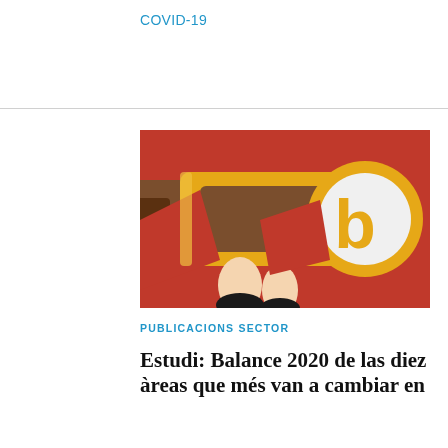COVID-19
[Figure (illustration): Colorful flat illustration showing a hand holding a megaphone or telescope, brown barrel shape with a circular lens showing a lowercase letter b in yellow/gold, on a red background with yellow accents.]
PUBLICACIONS SECTOR
Estudi: Balance 2020 de las diez àreas que más van a cambiar en